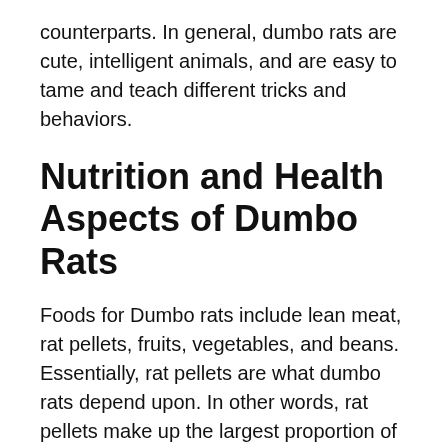counterparts. In general, dumbo rats are cute, intelligent animals, and are easy to tame and teach different tricks and behaviors.
Nutrition and Health Aspects of Dumbo Rats
Foods for Dumbo rats include lean meat, rat pellets, fruits, vegetables, and beans. Essentially, rat pellets are what dumbo rats depend upon. In other words, rat pellets make up the largest proportion of the entire dumbo rat feeds. However, dumbo rats also feed on green vegetables like other rats and rodents. Vegetables provide vitamins and minerals to dumbos. Vegetables are also rich in antioxidants, which can be beneficial to...